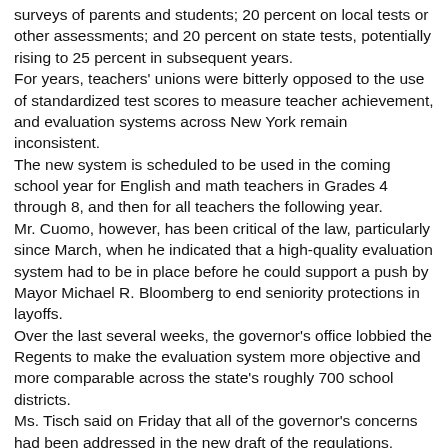surveys of parents and students; 20 percent on local tests or other assessments; and 20 percent on state tests, potentially rising to 25 percent in subsequent years.
For years, teachers' unions were bitterly opposed to the use of standardized test scores to measure teacher achievement, and evaluation systems across New York remain inconsistent.
The new system is scheduled to be used in the coming school year for English and math teachers in Grades 4 through 8, and then for all teachers the following year.
Mr. Cuomo, however, has been critical of the law, particularly since March, when he indicated that a high-quality evaluation system had to be in place before he could support a push by Mayor Michael R. Bloomberg to end seniority protections in layoffs.
Over the last several weeks, the governor's office lobbied the Regents to make the evaluation system more objective and more comparable across the state's roughly 700 school districts.
Ms. Tisch said on Friday that all of the governor's concerns had been addressed in the new draft of the regulations, which essentially put the law into effect.